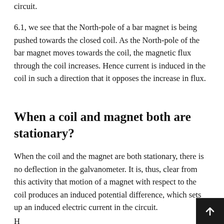circuit.
6.1, we see that the North-pole of a bar magnet is being pushed towards the closed coil. As the North-pole of the bar magnet moves towards the coil, the magnetic flux through the coil increases. Hence current is induced in the coil in such a direction that it opposes the increase in flux.
When a coil and magnet both are stationary?
When the coil and the magnet are both stationary, there is no deflection in the galvanometer. It is, thus, clear from this activity that motion of a magnet with respect to the coil produces an induced potential difference, which sets up an induced electric current in the circuit.
H